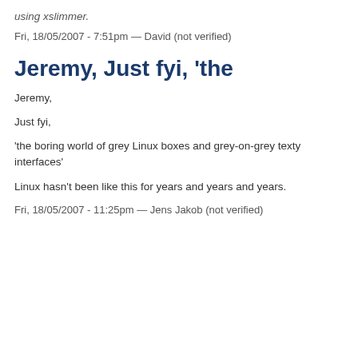using xslimmer.
Fri, 18/05/2007 - 7:51pm — David (not verified)
Jeremy, Just fyi, 'the
Jeremy,
Just fyi,
'the boring world of grey Linux boxes and grey-on-grey texty interfaces'
Linux hasn't been like this for years and years and years.
Fri, 18/05/2007 - 11:25pm — Jens Jakob (not verified)